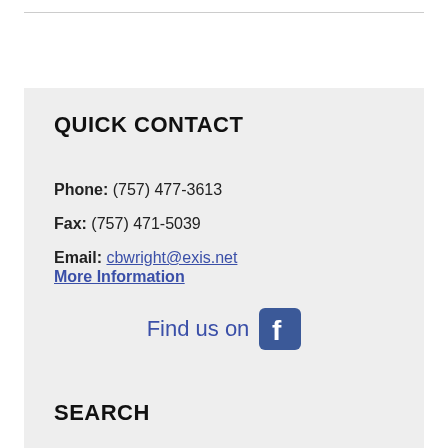QUICK CONTACT
Phone: (757) 477-3613
Fax: (757) 471-5039
Email: cbwright@exis.net
More Information
[Figure (other): Find us on Facebook — text with Facebook logo icon]
SEARCH